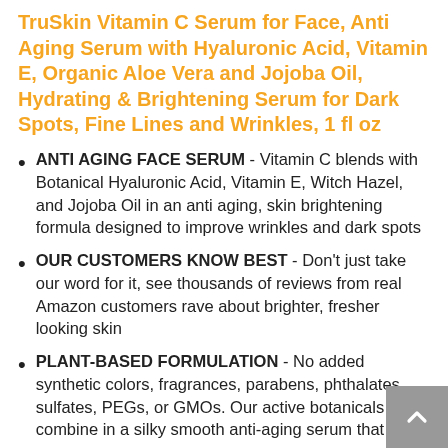TruSkin Vitamin C Serum for Face, Anti Aging Serum with Hyaluronic Acid, Vitamin E, Organic Aloe Vera and Jojoba Oil, Hydrating & Brightening Serum for Dark Spots, Fine Lines and Wrinkles, 1 fl oz
ANTI AGING FACE SERUM - Vitamin C blends with Botanical Hyaluronic Acid, Vitamin E, Witch Hazel, and Jojoba Oil in an anti aging, skin brightening formula designed to improve wrinkles and dark spots
OUR CUSTOMERS KNOW BEST - Don't just take our word for it, see thousands of reviews from real Amazon customers rave about brighter, fresher looking skin
PLANT-BASED FORMULATION - No added synthetic colors, fragrances, parabens, phthalates, sulfates, PEGs, or GMOs. Our active botanicals combine in a silky smooth anti-aging serum that